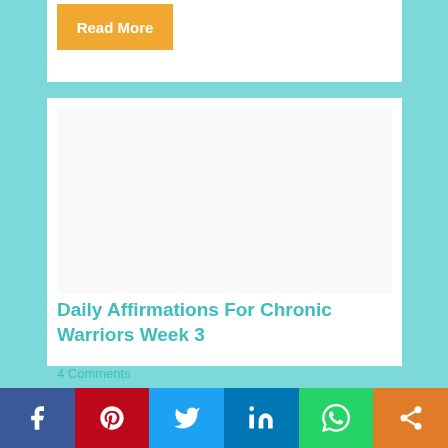Read More
[Figure (illustration): White image placeholder area for article thumbnail]
Daily Affirmations For Chronic Warriors Week 3
4 Comments
[Figure (infographic): Social sharing bar with Facebook, Pinterest, Twitter, LinkedIn, WhatsApp, and share icons]